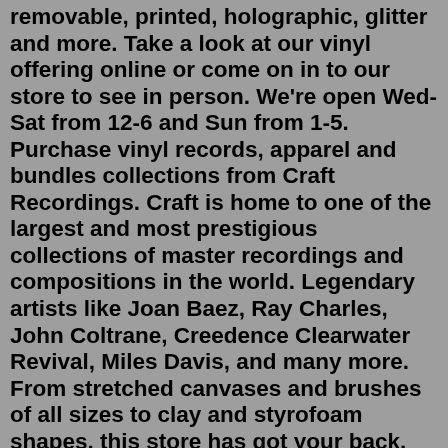removable, printed, holographic, glitter and more. Take a look at our vinyl offering online or come on in to our store to see in person. We're open Wed-Sat from 12-6 and Sun from 1-5. Purchase vinyl records, apparel and bundles collections from Craft Recordings. Craft is home to one of the largest and most prestigious collections of master recordings and compositions in the world. Legendary artists like Joan Baez, Ray Charles, John Coltrane, Creedence Clearwater Revival, Miles Davis, and many more. From stretched canvases and brushes of all sizes to clay and styrofoam shapes, this store has got your back. Krafer's Paradise, #04-19/20/21, City Square Mall, 180 Kitchener Road, Singapore 208539. 2. Art Friend. From feathers to felt, this store has every variety of craft material waiting to be made into paper dolls, masks or jewellery.Craft Vinyl Shop our extensive selection of Thermoflex, Glitterflex, Oracal 651, and more! Give your project a professional look with our high-quality craft vinyl products. Printed Patterns Get creative with our printed patterns on